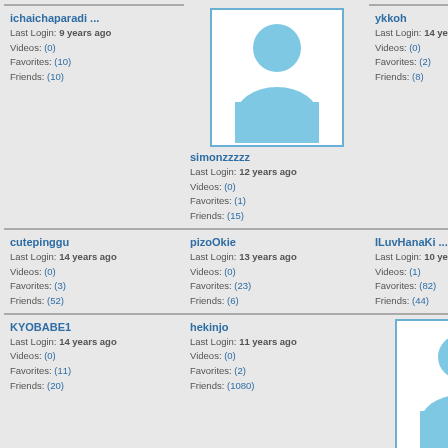ichaichaparadi ...
Last Login: 9 years ago
Videos: (0)
Favorites: (10)
Friends: (10)
[Figure (photo): Default avatar silhouette for simonzzzzz]
ykkoh
Last Login: 14 years ago
Videos: (0)
Favorites: (2)
Friends: (8)
simonzzzzz
Last Login: 12 years ago
Videos: (0)
Favorites: (1)
Friends: (15)
cutepinggu
Last Login: 14 years ago
Videos: (0)
Favorites: (3)
Friends: (52)
pizoOkie
Last Login: 13 years ago
Videos: (0)
Favorites: (23)
Friends: (6)
ILuvHanaKi ...
Last Login: 10 years ago
Videos: (1)
Favorites: (82)
Friends: (44)
KYOBABE1
Last Login: 14 years ago
Videos: (0)
Favorites: (11)
Friends: (20)
hekinjo
Last Login: 11 years ago
Videos: (0)
Favorites: (2)
Friends: (1080)
[Figure (photo): Default avatar silhouette for beck091]
beck091
Last Login: 12 years ago